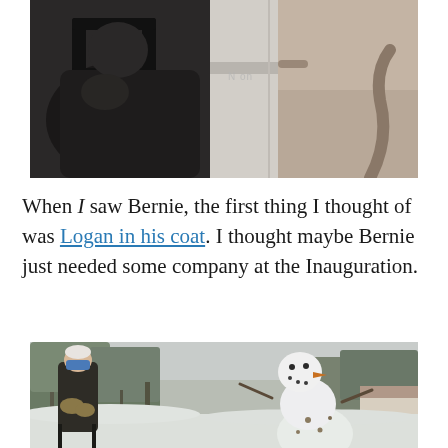[Figure (photo): A person (Bernie Sanders) sitting in a folding chair wearing a dark coat, photographed from behind/side, with a cat visible on the right side of the frame against a light wall background.]
When I saw Bernie, the first thing I thought of was Logan in his coat. I thought maybe Bernie just needed some company at the Inauguration.
[Figure (photo): Bernie Sanders sitting in a chair outside in a snowy landscape wearing a dark coat, mittens, and a blue face mask, next to a snowman. Trees and snow-covered ground visible in the background.]